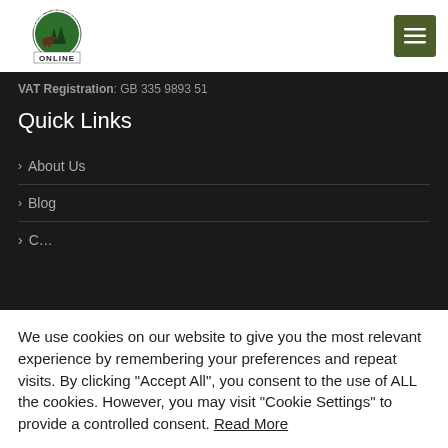[Figure (logo): New Forest Online circular logo with tree and horse illustration, text 'NEW FOREST' around top and 'ONLINE' in box at bottom]
VAT Registration: GB 335 9893 51
Quick Links
About Us
Blog
We use cookies on our website to give you the most relevant experience by remembering your preferences and repeat visits. By clicking "Accept All", you consent to the use of ALL the cookies. However, you may visit "Cookie Settings" to provide a controlled consent. Read More
Cookie Settings | Reject All | Accept All